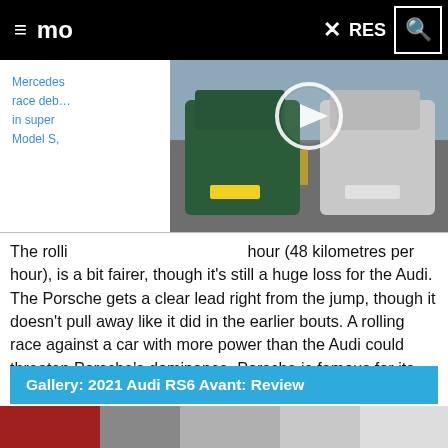≡ mo  ×  RES 🔍
[Figure (screenshot): Video thumbnail showing two cars on a runway - a green Audi RS6 Avant and a white Porsche Taycan - with a play button overlay]
Mercedes... race deb... in super Model S,
The rolling... hour (48 kilometres per hour), is a bit fairer, though it's still a huge loss for the Audi. The Porsche gets a clear lead right from the jump, though it doesn't pull away like it did in the earlier bouts. A rolling race against a car with more power than the Audi could threaten Porsche's dominance. Porsche is famous for its performance, and it's a title it's not ready to lose with EVs.
Gallery: 2021 Audi RS6 Avant: Review
[Figure (photo): Bottom portion of car image partially visible]